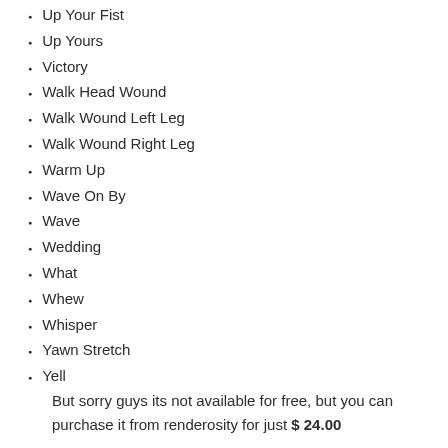Up Your Fist
Up Yours
Victory
Walk Head Wound
Walk Wound Left Leg
Walk Wound Right Leg
Warm Up
Wave On By
Wave
Wedding
What
Whew
Whisper
Yawn Stretch
Yell
But sorry guys its not available for free, but you can purchase it from renderosity for just $ 24.00